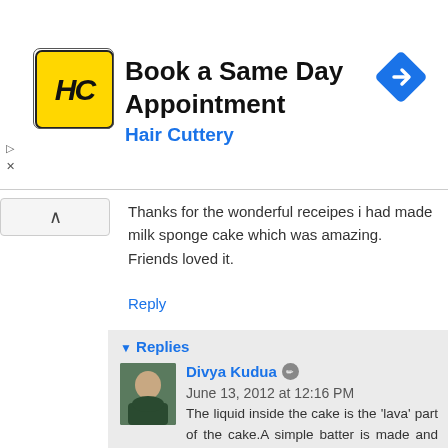[Figure (other): Hair Cuttery advertisement banner: logo with HC letters on yellow background, text 'Book a Same Day Appointment' and 'Hair Cuttery', navigation diamond icon on right]
Thanks for the wonderful receipes i had made milk sponge cake which was amazing.
Friends loved it.
Reply
▼ Replies
Divya Kudua  June 13, 2012 at 12:16 PM
The liquid inside the cake is the 'lava' part of the cake.A simple batter is made and baked for a shorter period so that the center remains gooey.Since there is a good quantity of chocolate in the batter,it wouldn't taste uncooked,on the contrary,it is the lava which elevates the cake to a different level.